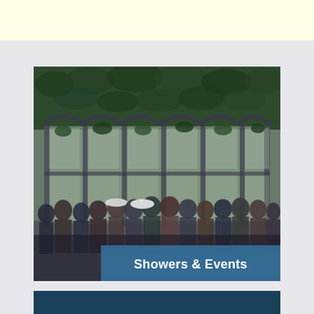[Figure (photo): Group photo of approximately 25-30 women standing together under a pergola or trellis covered in green ivy/vines, with large arched windows visible behind them. The image has a darkened/shadowed lower portion.]
Showers & Events